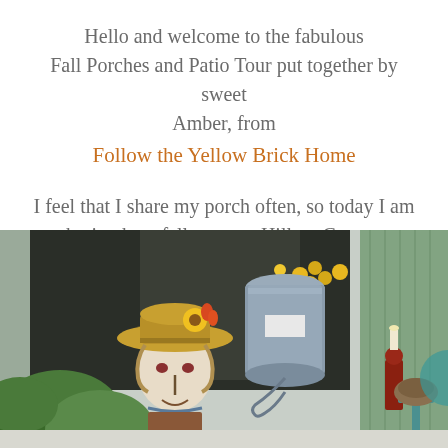Hello and welcome to the fabulous Fall Porches and Patio Tour put together by sweet Amber, from Follow the Yellow Brick Home
I feel that I share my porch often, so today I am sharing how fall came to Hilltop Cottage.
[Figure (photo): A fall porch scene featuring a scarecrow with a straw hat decorated with sunflowers, surrounded by green plants and fall decorations including a galvanized metal bucket, a red candle holder, and a teal metal stand.]